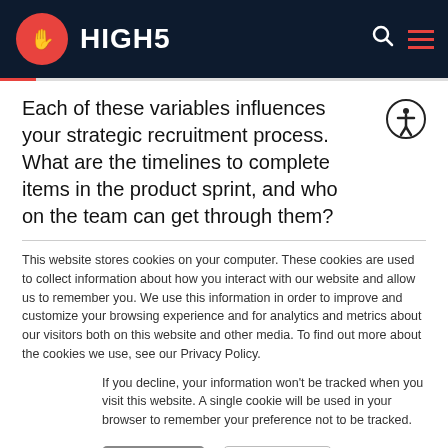HIGH5
Each of these variables influences your strategic recruitment process. What are the timelines to complete items in the product sprint, and who on the team can get through them?
This website stores cookies on your computer. These cookies are used to collect information about how you interact with our website and allow us to remember you. We use this information in order to improve and customize your browsing experience and for analytics and metrics about our visitors both on this website and other media. To find out more about the cookies we use, see our Privacy Policy.
If you decline, your information won't be tracked when you visit this website. A single cookie will be used in your browser to remember your preference not to be tracked.